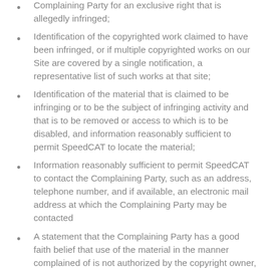Complaining Party for an exclusive right that is allegedly infringed;
Identification of the copyrighted work claimed to have been infringed, or if multiple copyrighted works on our Site are covered by a single notification, a representative list of such works at that site;
Identification of the material that is claimed to be infringing or to be the subject of infringing activity and that is to be removed or access to which is to be disabled, and information reasonably sufficient to permit SpeedCAT to locate the material;
Information reasonably sufficient to permit SpeedCAT to contact the Complaining Party, such as an address, telephone number, and if available, an electronic mail address at which the Complaining Party may be contacted
A statement that the Complaining Party has a good faith belief that use of the material in the manner complained of is not authorized by the copyright owner, its agent, or the law;
A statement that the information in the notification is